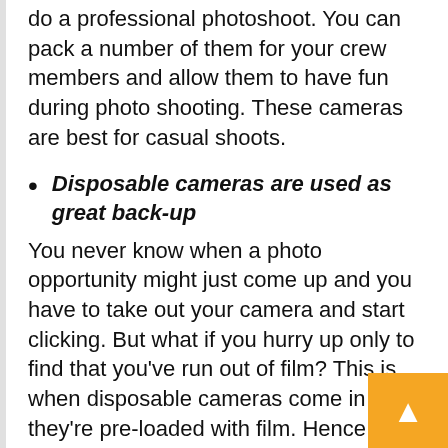do a professional photoshoot. You can pack a number of them for your crew members and allow them to have fun during photo shooting. These cameras are best for casual shoots.
Disposable cameras are used as great back-up
You never know when a photo opportunity might just come up and you have to take out your camera and start clicking. But what if you hurry up only to find that you've run out of film? This is when disposable cameras come in as they're pre-loaded with film. Hence, you can be sure about catching the moment before it slips off your hand.
Disposable cameras give wings to your creativity
Since these cameras are extremely simple to use, you can randomly use them without having to anything. If you're creative enough, you can give wings to your creativity as these cameras let you